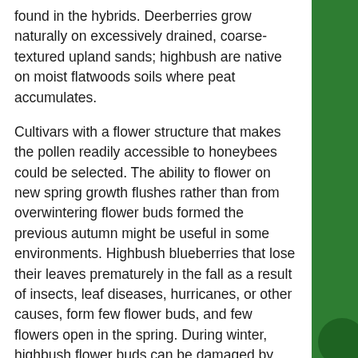found in the hybrids. Deerberries grow naturally on excessively drained, coarse-textured upland sands; highbush are native on moist flatwoods soils where peat accumulates.
Cultivars with a flower structure that makes the pollen readily accessible to honeybees could be selected. The ability to flower on new spring growth flushes rather than from overwintering flower buds formed the previous autumn might be useful in some environments. Highbush blueberries that lose their leaves prematurely in the fall as a result of insects, leaf diseases, hurricanes, or other causes, form few flower buds, and few flowers open in the spring. During winter, highbush flower buds can be damaged by freezes, blueberry bud mites, or gall midges. In Florida forests, V. stamineum normally begins to defoliate early in the fall as a result of insects, diseases, drought, low soil nutrients, and